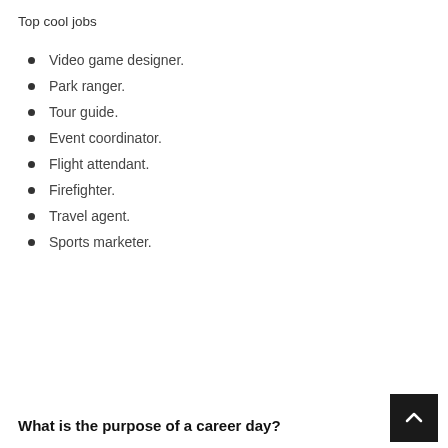Top cool jobs
Video game designer.
Park ranger.
Tour guide.
Event coordinator.
Flight attendant.
Firefighter.
Travel agent.
Sports marketer.
What is the purpose of a career day?